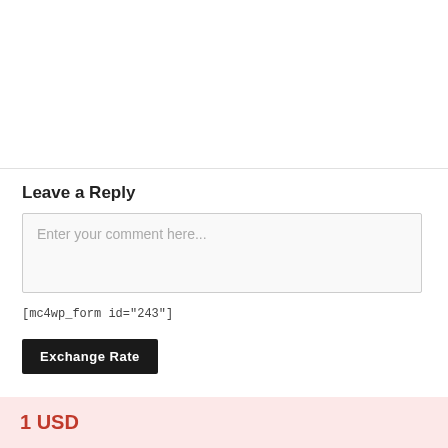Leave a Reply
Enter your comment here...
[mc4wp_form id="243"]
Exchange Rate
1 USD